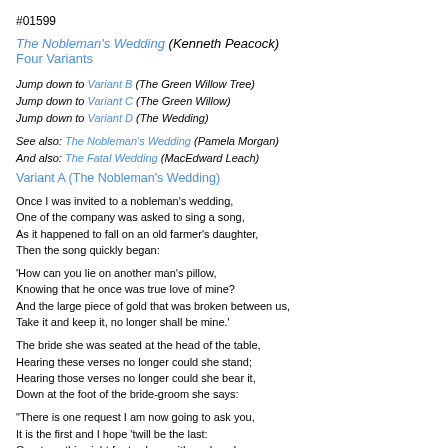#01599
The Nobleman's Wedding (Kenneth Peacock)
Four Variants
Jump down to Variant B (The Green Willow Tree)
Jump down to Variant C (The Green Willow)
Jump down to Variant D (The Wedding)
See also: The Nobleman's Wedding (Pamela Morgan)
And also: The Fatal Wedding (MacEdward Leach)
Variant A (The Nobleman's Wedding)
Once I was invited to a nobleman's wedding,
One of the company was asked to sing a song,
As it happened to fall on an old farmer's daughter,
Then the song quickly began:
'How can you lie on another man's pillow,
Knowing that he once was true love of mine?
And the large piece of gold that was broken between us,
Take it and keep it, no longer shall be mine.'
The bride she was seated at the head of the table,
Hearing these verses no longer could she stand;
Hearing those verses no longer could she bear it,
Down at the foot of the bride-groom she says:
"There is one request I am now going to ask you,
It is the first and I hope 'twill be the last:
Grant me this night for to sleep with my loved one
Then unto you I will do all the rest."
The question was asked and it quickly was granted,